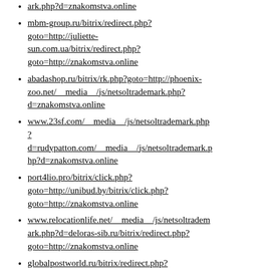ark.php?d=znakomstva.online
mbm-group.ru/bitrix/redirect.php?goto=http://juliette-sun.com.ua/bitrix/redirect.php?goto=http://znakomstva.online
abadashop.ru/bitrix/rk.php?goto=http://phoenix-zoo.net/__media__/js/netsoltrademark.php?d=znakomstva.online
www.23sf.com/__media__/js/netsoltrademark.php?d=rudypatton.com/__media__/js/netsoltrademark.php?d=znakomstva.online
port4lio.pro/bitrix/click.php?goto=http://unibud.by/bitrix/click.php?goto=http://znakomstva.online
www.relocationlife.net/__media__/js/netsoltrademark.php?d=deloras-sib.ru/bitrix/redirect.php?goto=http://znakomstva.online
globalpostworld.ru/bitrix/redirect.php?